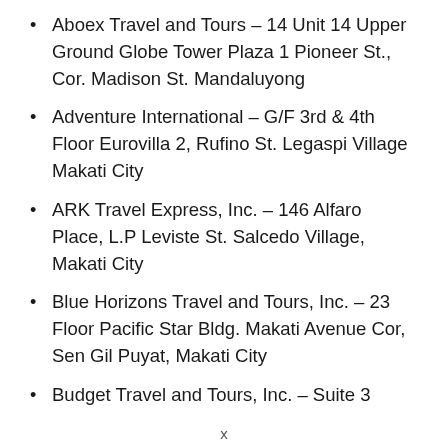Aboex Travel and Tours – 14 Unit 14 Upper Ground Globe Tower Plaza 1 Pioneer St., Cor. Madison St. Mandaluyong
Adventure International – G/F 3rd & 4th Floor Eurovilla 2, Rufino St. Legaspi Village Makati City
ARK Travel Express, Inc. – 146 Alfaro Place, L.P Leviste St. Salcedo Village, Makati City
Blue Horizons Travel and Tours, Inc. – 23 Floor Pacific Star Bldg. Makati Avenue Cor, Sen Gil Puyat, Makati City
Budget Travel and Tours, Inc. – Suite 3
x